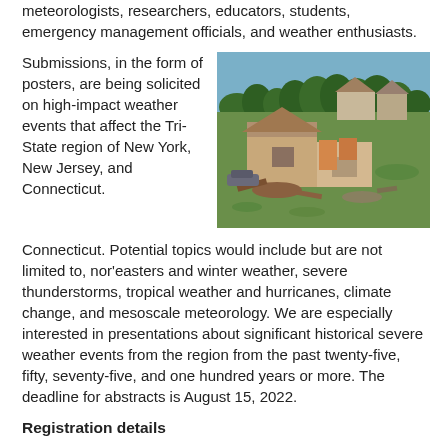meteorologists, researchers, educators, students, emergency management officials, and weather enthusiasts.
Submissions, in the form of posters, are being solicited on high-impact weather events that affect the Tri-State region of New York, New Jersey, and Connecticut. Potential topics would include but are not limited to, nor'easters and winter weather, severe thunderstorms, tropical weather and hurricanes, climate change, and mesoscale meteorology. We are especially interested in presentations about significant historical severe weather events from the region from the past twenty-five, fifty, seventy-five, and one hundred years or more. The deadline for abstracts is August 15, 2022.
[Figure (photo): Aerial or elevated photo showing tornado/storm damage to houses and structures in a residential area, with debris scattered around and partially destroyed buildings.]
Registration details
The registration fee is $35 and will include a continental